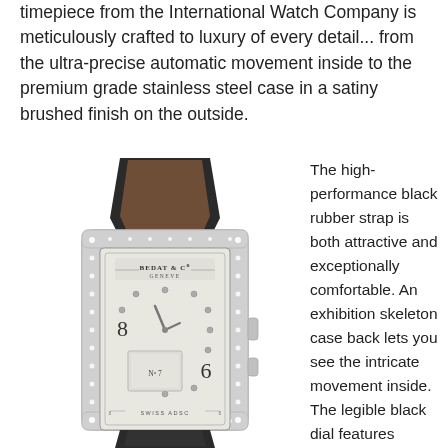timepiece from the International Watch Company is meticulously crafted to luxury of every detail... from the ultra-precise automatic movement inside to the premium grade stainless steel case in a satiny brushed finish on the outside.
[Figure (photo): A luxury Bedat & Co Geneve wristwatch with a rectangular case set with diamonds around the bezel, a silver dial with diamond hour markers and Arabic numerals, and a black rubber strap.]
The high-performance black rubber strap is both attractive and exceptionally comfortable. An exhibition skeleton case back lets you see the intricate movement inside. The legible black dial features small-second, 60-minute